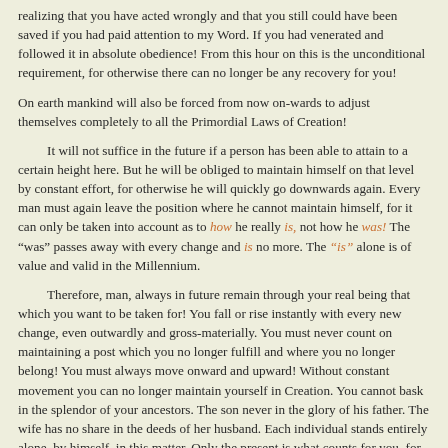realizing that you have acted wrongly and that you still could have been saved if you had paid attention to my Word. If you had venerated and followed it in absolute obedience! From this hour on this is the unconditional requirement, for otherwise there can no longer be any recovery for you!
On earth mankind will also be forced from now on-wards to adjust themselves completely to all the Primordial Laws of Creation!
It will not suffice in the future if a person has been able to attain to a certain height here. But he will be obliged to maintain himself on that level by constant effort, for otherwise he will quickly go downwards again. Every man must again leave the position where he cannot maintain himself, for it can only be taken into account as to how he really is, not how he was! The "was" passes away with every change and is no more. The "is" alone is of value and valid in the Millennium.
Therefore, man, always in future remain through your real being that which you want to be taken for! You fall or rise instantly with every new change, even outwardly and gross-materially. You must never count on maintaining a post which you no longer fulfill and where you no longer belong! You must always move onward and upward! Without constant movement you can no longer maintain yourself in Creation. You cannot bask in the splendor of your ancestors. The son never in the glory of his father. The wife has no share in the deeds of her husband. Each individual stands entirely alone, by himself, in this matter. Only the present is what counts for you, for it is the present which really "is"